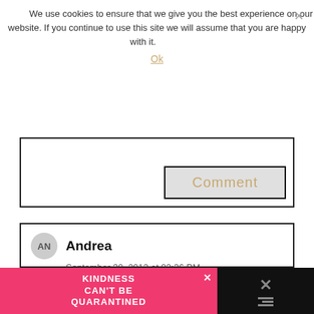We use cookies to ensure that we give you the best experience on our website. If you continue to use this site we will assume that you are happy with it.
Ok
Comment
Andrea
September 30, 2012 at 02:36 PM
Our daughter loves the playful & fun spirit of Dora…and of course that she is a GIRL! 🙂
[Figure (screenshot): Advertisement banner at bottom: pink section with text 'KINDNESS CAN'T BE QUARANTINED' and dark section with X icon]